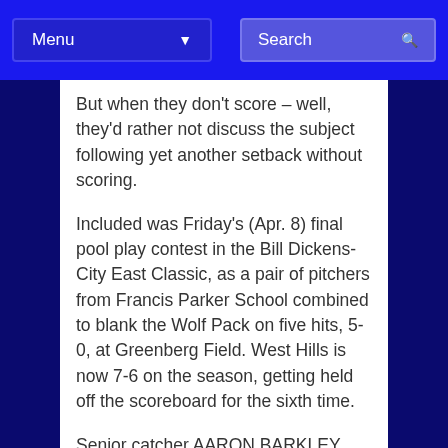Menu | Search
But when they don't score – well, they'd rather not discuss the subject following yet another setback without scoring.
Included was Friday's (Apr. 8) final pool play contest in the Bill Dickens-City East Classic, as a pair of pitchers from Francis Parker School combined to blank the Wolf Pack on five hits, 5-0, at Greenberg Field. West Hills is now 7-6 on the season, getting held off the scoreboard for the sixth time.
Senior catcher AARON BARKLEY continued to pound the ball, collecting a pair of booming doubles to push his season average over the .350 plateau. However, the Pack was never able to advance him around the corner to score, including a lead-off shot off the right-field fence to open the 6th inning.